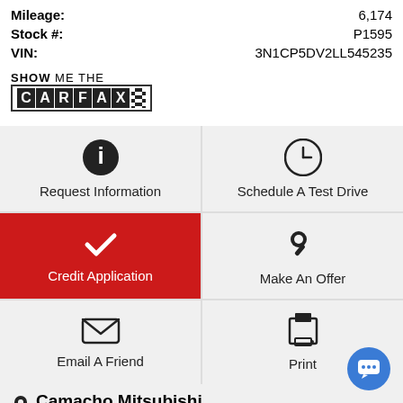Mileage: 6,174
Stock #: P1595
VIN: 3N1CP5DV2LL545235
[Figure (logo): SHOW ME THE CARFAX logo with checkered flag]
Request Information
Schedule A Test Drive
Credit Application
Make An Offer
Email A Friend
Print
Camacho Mitsubishi
401 Auto Vista Drive